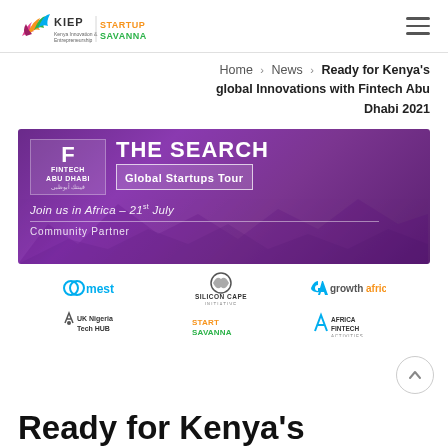KIEP Startup Savanna logo and hamburger menu
Home > News > Ready for Kenya's global Innovations with Fintech Abu Dhabi 2021
[Figure (illustration): Fintech Abu Dhabi 2021 - The Search Global Startups Tour banner. Join us in Africa – 21st July. Community Partner logos: MEST, Silicon Cape Initiative, GrowthAfrica, UK Nigeria Tech HUB, Startup Savanna, Africa Fintech.]
Ready for Kenya's